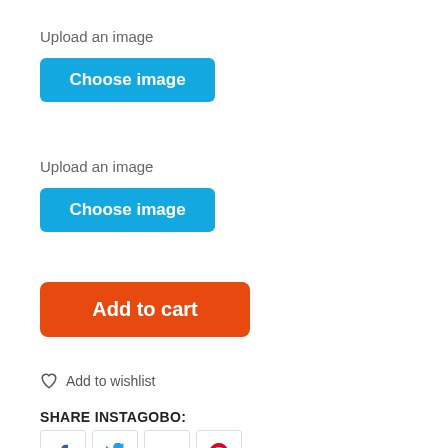Upload an image
[Figure (screenshot): Blue 'Choose image' button]
Upload an image
[Figure (screenshot): Blue 'Choose image' button]
[Figure (screenshot): Orange 'Add to cart' button]
Add to wishlist
SHARE INSTAGOBO:
[Figure (screenshot): Social share icons: Facebook, Twitter, Google+, Pinterest]